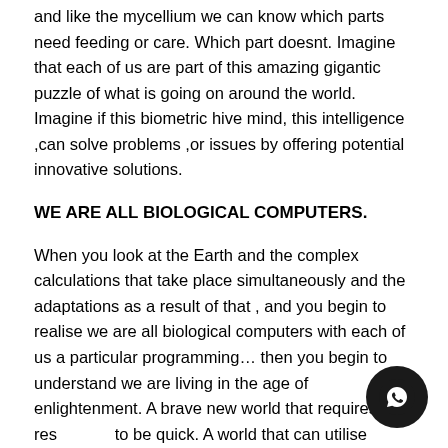and like the mycellium we can know which parts need feeding or care. Which part doesnt. Imagine that each of us are part of this amazing gigantic puzzle of what is going on around the world. Imagine if this biometric hive mind, this intelligence ,can solve problems ,or issues by offering potential innovative solutions.
WE ARE ALL BIOLOGICAL COMPUTERS.
When you look at the Earth and the complex calculations that take place simultaneously and the adaptations as a result of that , and you begin to realise we are all biological computers with each of us a particular programming… then you begin to understand we are living in the age of enlightenment. A brave new world that requires responses to be quick. A world that can utilise computations to improve situations. In Africa where to dig a well , or how